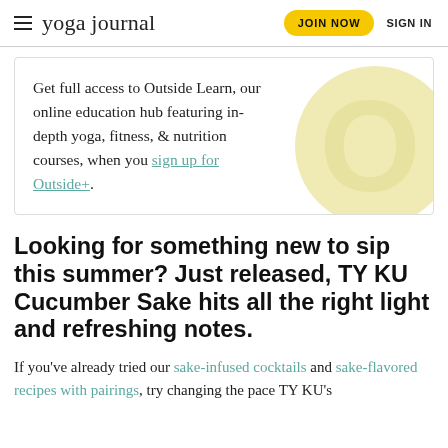yoga journal  JOIN NOW  SIGN IN
Get full access to Outside Learn, our online education hub featuring in-depth yoga, fitness, & nutrition courses, when you sign up for Outside+.
Looking for something new to sip this summer? Just released, TY KU Cucumber Sake hits all the right light and refreshing notes.
If you've already tried our sake-infused cocktails and sake-flavored recipes with pairings, try changing the pace TY KU's